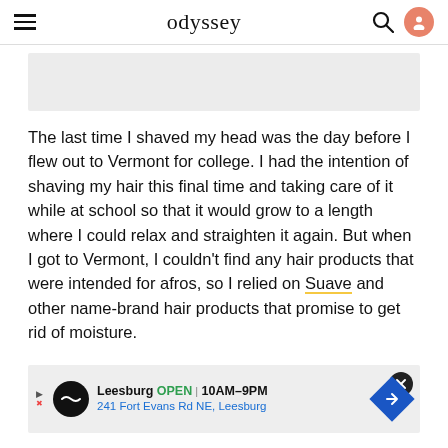odyssey
[Figure (other): Gray placeholder advertisement banner]
The last time I shaved my head was the day before I flew out to Vermont for college. I had the intention of shaving my hair this final time and taking care of it while at school so that it would grow to a length where I could relax and straighten it again. But when I got to Vermont, I couldn’t find any hair products that were intended for afros, so I relied on Suave and other name-brand hair products that promise to get rid of moisture.
[Figure (other): Advertisement: Leesburg OPEN 10AM-9PM, 241 Fort Evans Rd NE, Leesburg]